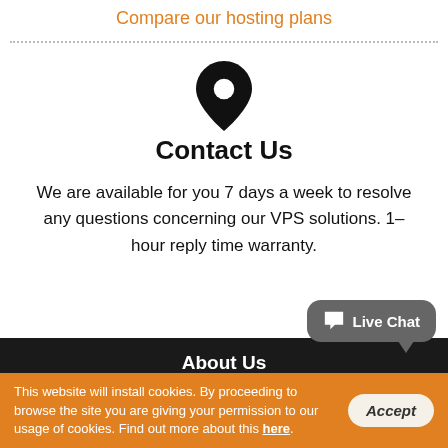Compare our hosting plans
[Figure (illustration): Black location pin / map marker icon]
Contact Us
We are available for you 7 days a week to resolve any questions concerning our VPS solutions. 1–hour reply time warranty.
About Us
About Us
[Figure (other): Live Chat speech bubble button with chat icon]
This website will install cookies. By proceeding to browse the site you are giving your permission to our usage of cookies. Find out more about this here.